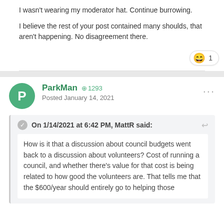I wasn't wearing my moderator hat. Continue burrowing.
I believe the rest of your post contained many shoulds, that aren't happening. No disagreement there.
[Figure (other): Reaction badge showing laughing emoji with count 1]
ParkMan +1293 Posted January 14, 2021
On 1/14/2021 at 6:42 PM, MattR said:
How is it that a discussion about council budgets went back to a discussion about volunteers? Cost of running a council, and whether there's value for that cost is being related to how good the volunteers are. That tells me that the $600/year should entirely go to helping those